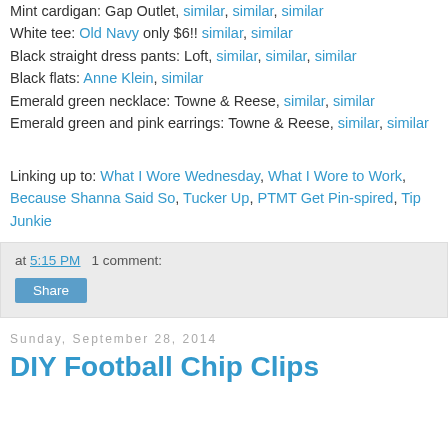Mint cardigan: Gap Outlet, similar, similar, similar
White tee: Old Navy only $6!! similar, similar
Black straight dress pants: Loft, similar, similar, similar
Black flats: Anne Klein, similar
Emerald green necklace: Towne & Reese, similar, similar
Emerald green and pink earrings: Towne & Reese, similar, similar
Linking up to: What I Wore Wednesday, What I Wore to Work, Because Shanna Said So, Tucker Up, PTMT Get Pin-spired, Tip Junkie
at 5:15 PM   1 comment:
Share
Sunday, September 28, 2014
DIY Football Chip Clips